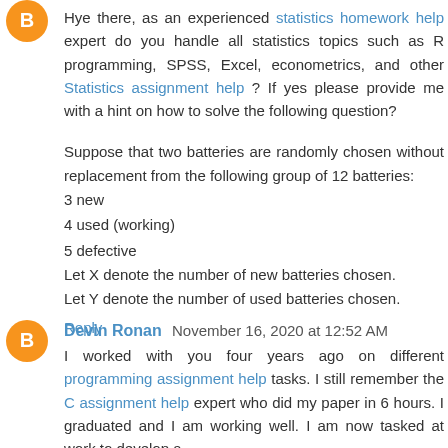Hye there, as an experienced statistics homework help expert do you handle all statistics topics such as R programming, SPSS, Excel, econometrics, and other Statistics assignment help ? If yes please provide me with a hint on how to solve the following question?
Suppose that two batteries are randomly chosen without replacement from the following group of 12 batteries:
3 new
4 used (working)
5 defective
Let X denote the number of new batteries chosen.
Let Y denote the number of used batteries chosen.
Reply
Devin Ronan  November 16, 2020 at 12:52 AM
I worked with you four years ago on different programming assignment help tasks. I still remember the C assignment help expert who did my paper in 6 hours. I graduated and I am working well. I am now tasked at work to develop a